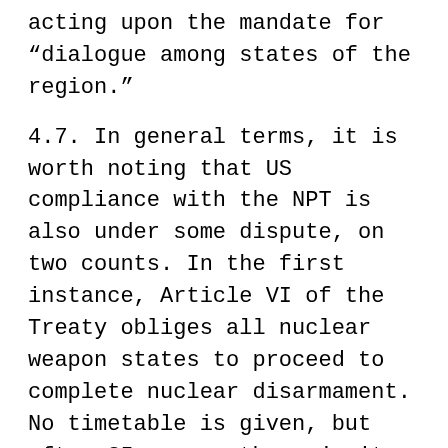acting upon the mandate for "dialogue among states of the region."
4.7. In general terms, it is worth noting that US compliance with the NPT is also under some dispute, on two counts. In the first instance, Article VI of the Treaty obliges all nuclear weapon states to proceed to complete nuclear disarmament. No timetable is given, but after 35 years, the majority of States at the 2000 NPT Review Conference were of the clear view that the nuclear disarmament process lags behind even the most minimal expectations.
4.8. In the second instance, and more directly connected, last January leaked and